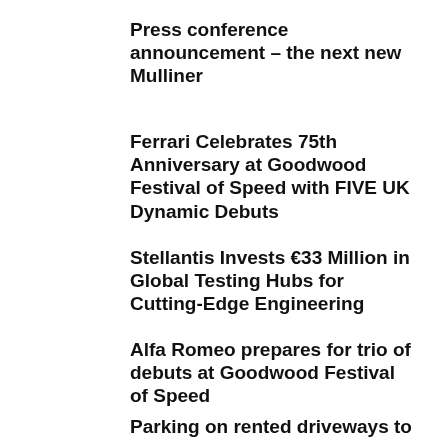Press conference announcement – the next new Mulliner
Ferrari Celebrates 75th Anniversary at Goodwood Festival of Speed with FIVE UK Dynamic Debuts
Stellantis Invests €33 Million in Global Testing Hubs for Cutting-Edge Engineering
Alfa Romeo prepares for trio of debuts at Goodwood Festival of Speed
Parking on rented driveways to